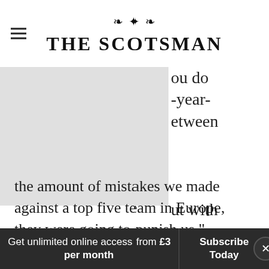THE SCOTSMAN
[Figure (other): Advertisement or image block (grey placeholder)]
ou do -year- etween ut with the amount of mistakes we made against a top five team in Europe, they were going to punish us."
Punish them they did through those early scores by Santiago Cordero and Jean-Baptiste
Get unlimited online access from £3 per month
Subscribe Today